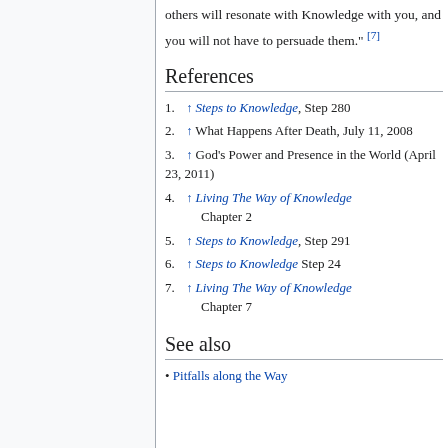others will resonate with Knowledge with you, and you will not have to persuade them." [7]
References
1. ↑ Steps to Knowledge, Step 280
2. ↑ What Happens After Death, July 11, 2008
3. ↑ God's Power and Presence in the World (April 23, 2011)
4. ↑ Living The Way of Knowledge Chapter 2
5. ↑ Steps to Knowledge, Step 291
6. ↑ Steps to Knowledge Step 24
7. ↑ Living The Way of Knowledge Chapter 7
See also
• Pitfalls along the Way